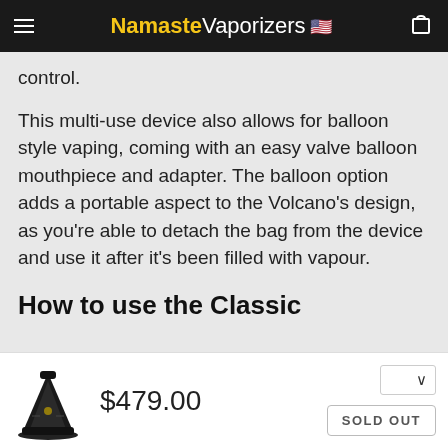Namaste Vaporizers
control.
This multi-use device also allows for balloon style vaping, coming with an easy valve balloon mouthpiece and adapter. The balloon option adds a portable aspect to the Volcano's design, as you're able to detach the bag from the device and use it after it's been filled with vapour.
How to use the Classic
[Figure (photo): Black Volcano Classic vaporizer product image]
$479.00